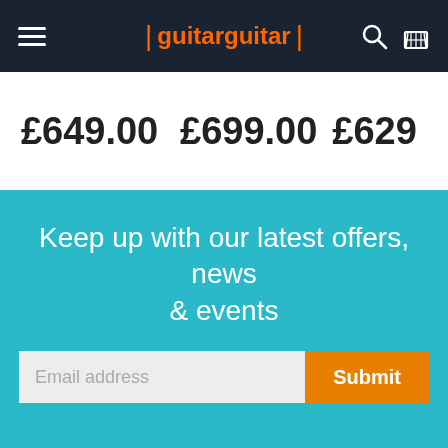guitarguitar navigation bar with hamburger menu, logo, search and basket icons
£649.00    £699.00    £629
Keep up with our latest offers, news & events
Email address
Submit
guitarguitar uses cookies to ensure you get the best experience on our website - Learn More